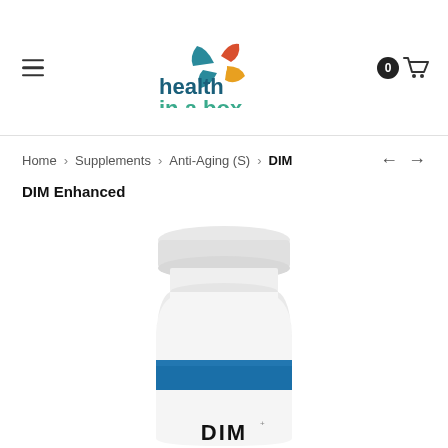[Figure (logo): Health in a Box logo with colorful pinwheel star and teal/dark blue brand text]
Home > Supplements > Anti-Aging (S) > DIM
DIM Enhanced
[Figure (photo): White supplement bottle with blue stripe label reading DIM, product partially cropped at bottom]